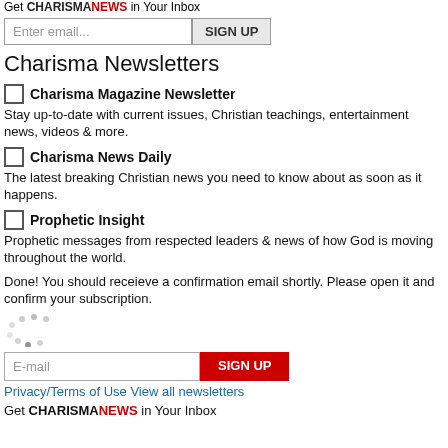Get CHARISMANEWS in Your Inbox
[Figure (screenshot): Email signup input field with placeholder 'Enter email...' and SIGN UP button]
Charisma Newsletters
Charisma Magazine Newsletter - Stay up-to-date with current issues, Christian teachings, entertainment news, videos & more.
Charisma News Daily - The latest breaking Christian news you need to know about as soon as it happens.
Prophetic Insight - Prophetic messages from respected leaders & news of how God is moving throughout the world.
Done! You should receieve a confirmation email shortly. Please open it and confirm your subscription.
[Figure (other): Loading spinner dots]
[Figure (screenshot): E-mail input field and red SIGN UP button]
Privacy/Terms of Use View all newsletters
Get CHARISMANEWS in Your Inbox